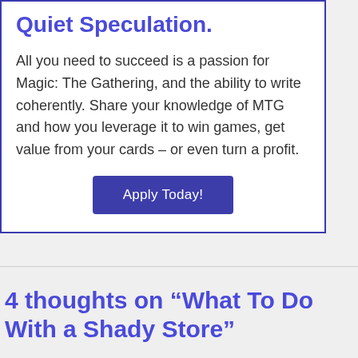Quiet Speculation.
All you need to succeed is a passion for Magic: The Gathering, and the ability to write coherently. Share your knowledge of MTG and how you leverage it to win games, get value from your cards – or even turn a profit.
Apply Today!
4 thoughts on “What To Do With a Shady Store”